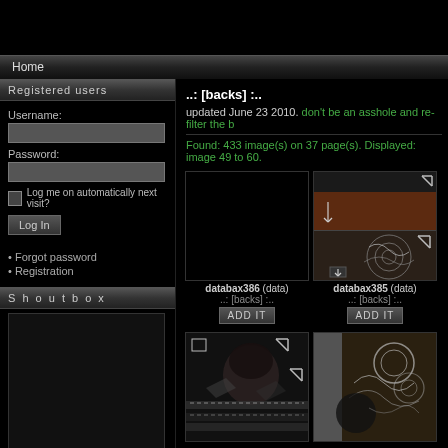Home
Registered users
Username:
Password:
Log me on automatically next visit?
Log In
• Forgot password
• Registration
S h o u t b o x
..: [backs] :..
updated June 23 2010. don't be an asshole and re-filter the b
Found: 433 image(s) on 37 page(s). Displayed: image 49 to 60.
[Figure (screenshot): Black thumbnail image for databax386]
databax386 (data)
..: [backs] :..
[Figure (photo): Dark decorative image thumbnail for databax385 showing swirls and dark tones, split into sections with brown and gray areas]
databax385 (data)
..: [backs] :..
[Figure (photo): Dark image thumbnail showing person and collage elements with dashed lines]
[Figure (photo): Dark decorative image with swirls and circles pattern, sepia tones]